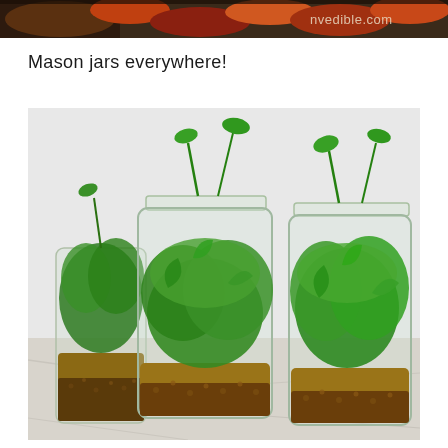[Figure (photo): Partial top banner image showing colorful foods or produce with nvedible.com watermark text visible in upper right corner]
Mason jars everywhere!
[Figure (photo): Three clear glass mason jars filled with layers of lentils/grains at the bottom and fresh green salad leaves (spinach/arugula) spilling out the top, placed on a white marble surface with a light grey background]